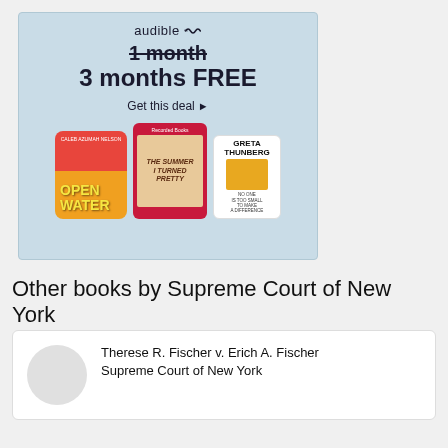[Figure (other): Audible advertisement banner with light blue background. Shows 'audible' logo at top, text '1 month' with strikethrough, '3 months FREE', 'Get this deal ▶', and three audiobook covers: Open Water, The Summer I Turned Pretty, and Greta Thunberg.]
Other books by Supreme Court of New York
Therese R. Fischer v. Erich A. Fischer
Supreme Court of New York